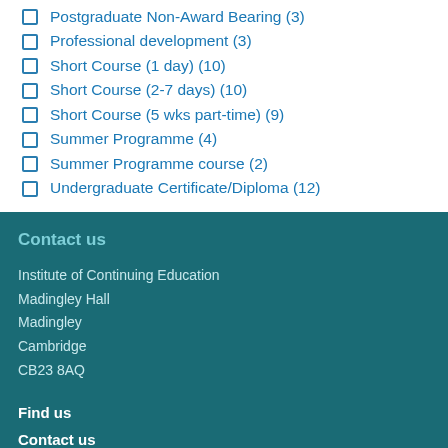Postgraduate Non-Award Bearing (3)
Professional development (3)
Short Course (1 day) (10)
Short Course (2-7 days) (10)
Short Course (5 wks part-time) (9)
Summer Programme (4)
Summer Programme course (2)
Undergraduate Certificate/Diploma (12)
Contact us
Institute of Continuing Education
Madingley Hall
Madingley
Cambridge
CB23 8AQ
Find us
Contact us